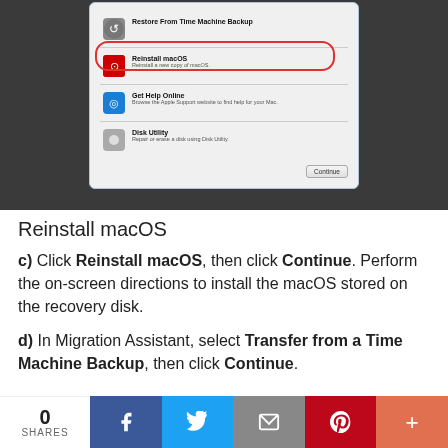[Figure (screenshot): macOS Recovery dialog box showing options: Restore From Time Machine Backup, Reinstall macOS (highlighted with red oval), Get Help Online, Disk Utility, with a Continue button. Dark gray background.]
Reinstall macOS
c) Click Reinstall macOS, then click Continue. Perform the on-screen directions to install the macOS stored on the recovery disk.
d) In Migration Assistant, select Transfer from a Time Machine Backup, then click Continue.